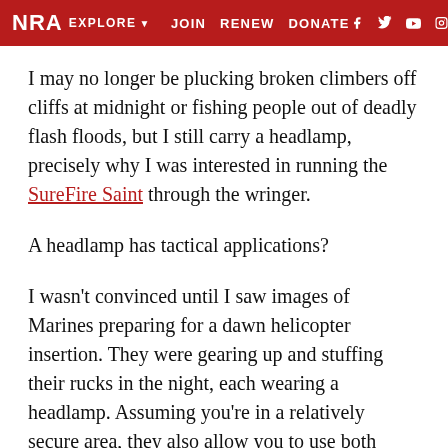NRA EXPLORE  JOIN  RENEW  DONATE  [social icons: Facebook, Twitter, YouTube, Instagram]
I may no longer be plucking broken climbers off cliffs at midnight or fishing people out of deadly flash floods, but I still carry a headlamp, precisely why I was interested in running the SureFire Saint through the wringer.
A headlamp has tactical applications?
I wasn't convinced until I saw images of Marines preparing for a dawn helicopter insertion. They were gearing up and stuffing their rucks in the night, each wearing a headlamp. Assuming you're in a relatively secure area, they also allow you to use both hands when addressing a firearm malfunction, administering...